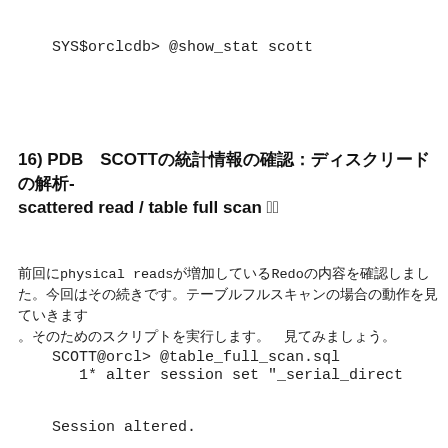SYS$orclcdb> @show_stat scott
16) PDB　SCOTTの統計情報の確認：ディスクリードの解析-scattered read / table full scan （2）
前回にphysical readsが増加しているRedoの内容を確認しました。今回はその続きです。テーブルフルスキャンの場合の動作を見ていきます
SCOTT@orcl> @table_full_scan.sql
   1* alter session set "_serial_direct
Session altered.